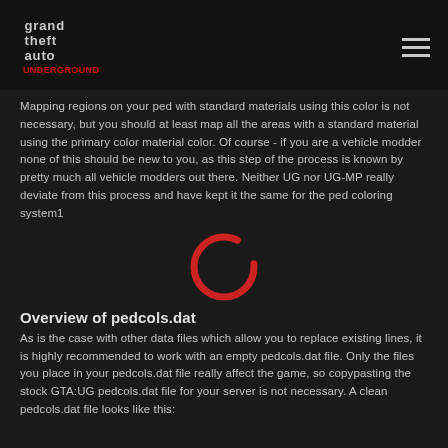Grand Theft Auto Underground logo and navigation
Mapping regions on your ped with standard materials using this color is not necessary, but you should at least map all the areas with a standard material using the primary color material color. Of course - if you are a vehicle modder none of this should be new to you, as this step of the process is known by pretty much all vehicle modders out there. Neither UG nor UG-MP really deviate from this process and have kept it the same for the ped coloring system1
[Figure (other): Red circular loading/spinner ring icon]
Overview of pedcols.dat
As is the case with other data files which allow you to replace existing lines, it is highly recommended to work with an empty pedcols.dat file. Only the files you place in your pedcols.dat file really affect the game, so copypasting the stock GTA:UG pedcols.dat file for your server is not necessary. A clean pedcols.dat file looks like this: